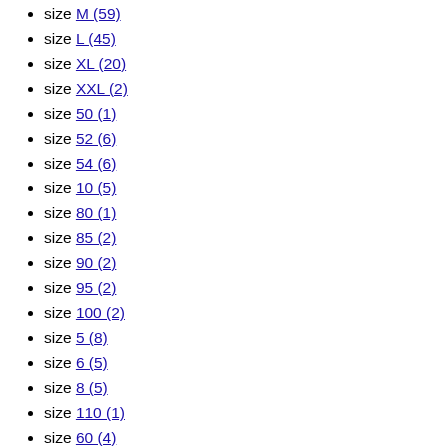size M (59)
size L (45)
size XL (20)
size XXL (2)
size 50 (1)
size 52 (6)
size 54 (6)
size 10 (5)
size 80 (1)
size 85 (2)
size 90 (2)
size 95 (2)
size 100 (2)
size 5 (8)
size 6 (5)
size 8 (5)
size 110 (1)
size 60 (4)
size 62 (2)
size U (107)
Gender
Women (35)